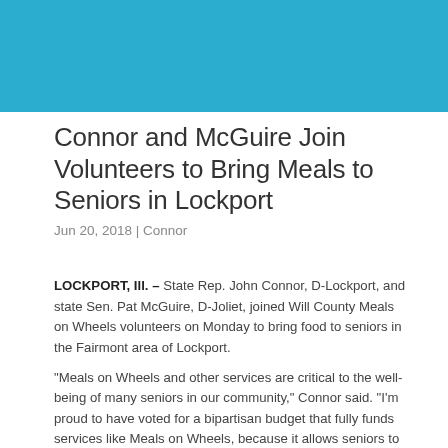[Figure (other): Teal/cyan colored header banner bar at top of page]
Connor and McGuire Join Volunteers to Bring Meals to Seniors in Lockport
Jun 20, 2018 | Connor
LOCKPORT, Ill. – State Rep. John Connor, D-Lockport, and state Sen. Pat McGuire, D-Joliet, joined Will County Meals on Wheels volunteers on Monday to bring food to seniors in the Fairmont area of Lockport.
“Meals on Wheels and other services are critical to the well-being of many seniors in our community,” Connor said. “I’m proud to have voted for a bipartisan budget that fully funds services like Meals on Wheels, because it allows seniors to